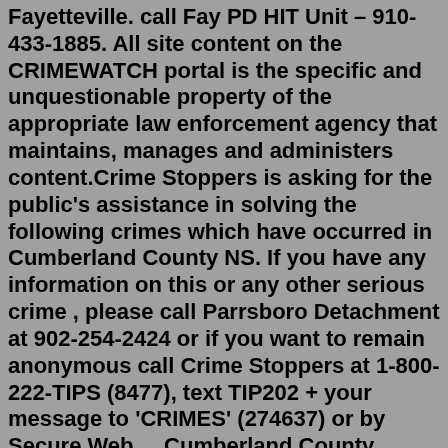Fayetteville. call Fay PD HIT Unit – 910-433-1885. All site content on the CRIMEWATCH portal is the specific and unquestionable property of the appropriate law enforcement agency that maintains, manages and administers content.Crime Stoppers is asking for the public's assistance in solving the following crimes which have occurred in Cumberland County NS. If you have any information on this or any other serious crime , please call Parrsboro Detachment at 902-254-2424 or if you want to remain anonymous call Crime Stoppers at 1-800-222-TIPS (8477), text TIP202 + your message to 'CRIMES' (274637) or by Secure Web ... Cumberland County Crime Stoppers - Pa, Carlisle, Pennsylvania. 1,687 likes. Collecting tips to solve crimes. If you know someone who is wanted, call.... The Crossville Cumberland County... Crossville-Cumberland County Crimestoppers, Crossville, Tennessee. 10,935 likes · 25 talking about this · 19 were here. The Crossville Cumberland County Crimestoppers page posts photos, videos and... Crossville-Cumberland